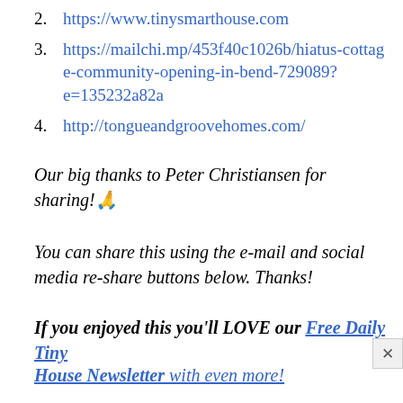2. https://www.tinysmarthouse.com
3. https://mailchi.mp/453f40c1026b/hiatus-cottage-community-opening-in-bend-729089?e=135232a82a
4. http://tongueandgroovehomes.com/
Our big thanks to Peter Christiansen for sharing! 🙏
You can share this using the e-mail and social media re-share buttons below. Thanks!
If you enjoyed this you'll LOVE our Free Daily Tiny House Newsletter with even more!